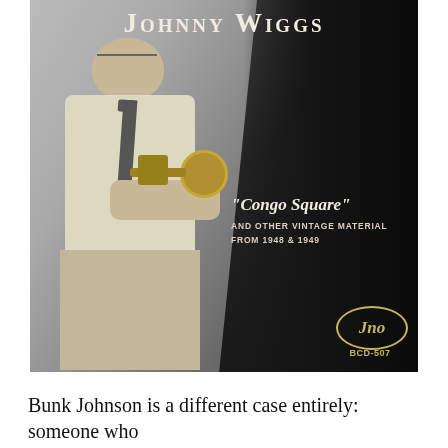[Figure (photo): Album cover for Johnny Wiggs 'Congo Square' and Other Vintage Material From 1948 & 1949. Black and white photo of an older man in a white short-sleeve shirt and striped tie, holding a trumpet, standing against a dark background. The album title 'JOHNNY WIGGS' appears at the top in large serif font. The subtitle reads: 'Congo Square' and Other Vintage Material From 1948 & 1949. A label badge reads 'Jno BCD-507' in the lower right.]
Bunk Johnson is a different case entirely: someone who